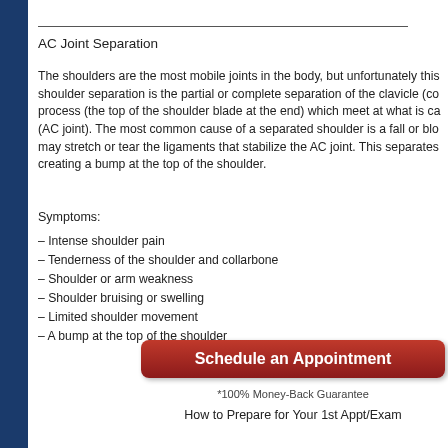AC Joint Separation
The shoulders are the most mobile joints in the body, but unfortunately this shoulder separation is the partial or complete separation of the clavicle (co process (the top of the shoulder blade at the end) which meet at what is ca (AC joint). The most common cause of a separated shoulder is a fall or blo may stretch or tear the ligaments that stabilize the AC joint. This separates creating a bump at the top of the shoulder.
Symptoms:
– Intense shoulder pain
– Tenderness of the shoulder and collarbone
– Shoulder or arm weakness
– Shoulder bruising or swelling
– Limited shoulder movement
– A bump at the top of the shoulder
[Figure (other): Red rounded rectangle button labeled 'Schedule an Appointment']
*100% Money-Back Guarantee
How to Prepare for Your 1st Appt/Exam